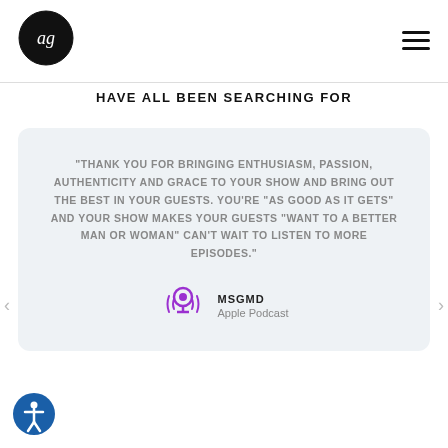[Figure (logo): Circular black logo with stylized 'ag' script lettering in white]
[Figure (illustration): Hamburger menu icon (three horizontal black lines)]
HAVE ALL BEEN SEARCHING FOR
“THANK YOU FOR BRINGING ENTHUSIASM, PASSION, AUTHENTICITY AND GRACE TO YOUR SHOW AND BRING OUT THE BEST IN YOUR GUESTS. YOU’RE “AS GOOD AS IT GETS” AND YOUR SHOW MAKES YOUR GUESTS “WANT TO A BETTER MAN OR WOMAN” CAN’T WAIT TO LISTEN TO MORE EPISODES.”
[Figure (logo): Purple Apple Podcast microphone/broadcast icon]
MSGMD
Apple Podcast
[Figure (illustration): Blue circle accessibility icon with person figure]